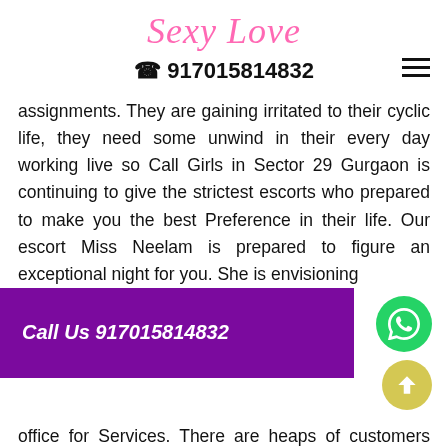Sexy Love
☎ 917015814832
assignments. They are gaining irritated to their cyclic life, they need some unwind in their every day working live so Call Girls in Sector 29 Gurgaon is continuing to give the strictest escorts who prepared to make you the best Preference in their life. Our escort Miss Neelam is prepared to figure an exceptional night for you. She is envisioning t... ay in t... S... office for Services. There are heaps of customers who fulfill by our rich Females so
Call Us 917015814832